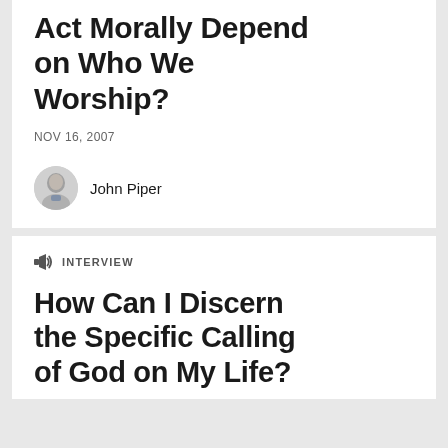Act Morally Depend on Who We Worship?
NOV 16, 2007
John Piper
INTERVIEW
How Can I Discern the Specific Calling of God on My Life?